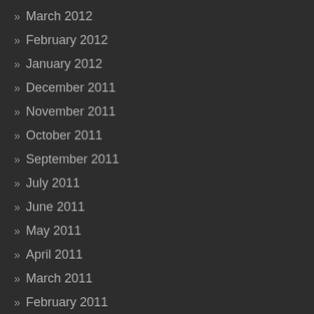» March 2012
» February 2012
» January 2012
» December 2011
» November 2011
» October 2011
» September 2011
» July 2011
» June 2011
» May 2011
» April 2011
» March 2011
» February 2011
» January 2011